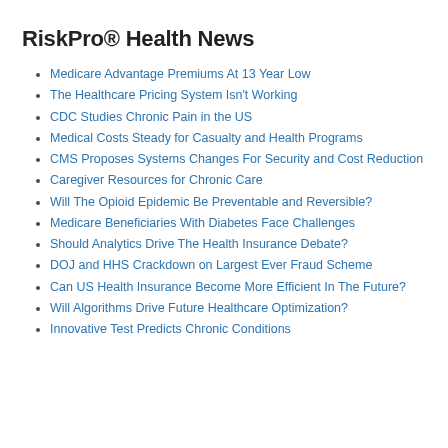RiskPro® Health News
Medicare Advantage Premiums At 13 Year Low
The Healthcare Pricing System Isn't Working
CDC Studies Chronic Pain in the US
Medical Costs Steady for Casualty and Health Programs
CMS Proposes Systems Changes For Security and Cost Reduction
Caregiver Resources for Chronic Care
Will The Opioid Epidemic Be Preventable and Reversible?
Medicare Beneficiaries With Diabetes Face Challenges
Should Analytics Drive The Health Insurance Debate?
DOJ and HHS Crackdown on Largest Ever Fraud Scheme
Can US Health Insurance Become More Efficient In The Future?
Will Algorithms Drive Future Healthcare Optimization?
Innovative Test Predicts Chronic Conditions